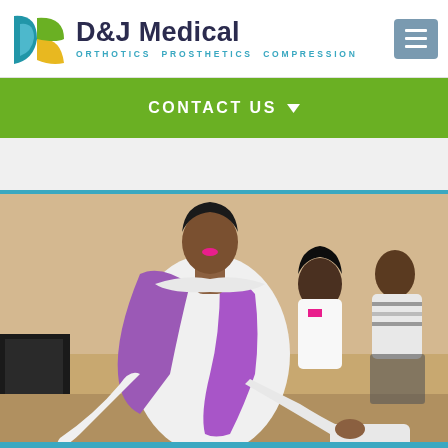[Figure (logo): D&J Medical logo with blue-green-yellow swirl icon and tagline ORTHOTICS PROSTHETICS COMPRESSION]
[Figure (screenshot): Hamburger menu button (three horizontal lines) in gray-blue box]
CONTACT US
[Figure (photo): Woman in white long-sleeve shirt and purple vest leaning forward, with seated audience in background at a medical or community event]